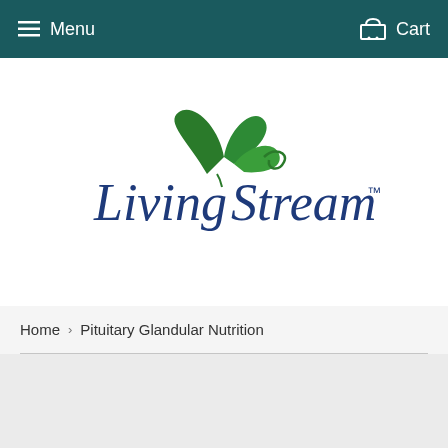Menu   Cart
[Figure (logo): Living Stream logo with green leaf/plant graphic above the text 'Living Stream' in dark navy blue serif font with a trademark symbol]
Home › Pituitary Glandular Nutrition